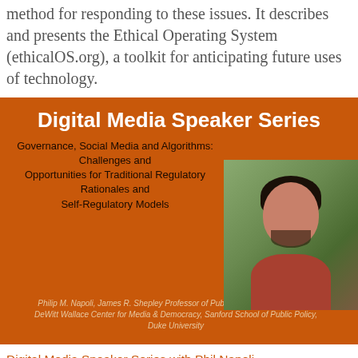method for responding to these issues. It describes and presents the Ethical Operating System (ethicalOS.org), a toolkit for anticipating future uses of technology.
[Figure (infographic): Digital Media Speaker Series banner with orange background. Title: 'Digital Media Speaker Series'. Subtitle: 'Governance, Social Media and Algorithms: Challenges and Opportunities for Traditional Regulatory Rationales and Self-Regulatory Models'. Photo of Philip M. Napoli on the right side. Caption: 'Philip M. Napoli, James R. Shepley Professor of Public Policy Faculty Affiliate, DeWitt Wallace Center for Media & Democracy, Sanford School of Public Policy, Duke University']
Digital Media Speaker Series with Phil Napoli
Oct 10, 2018 | Invited Speaker, New Media & Information